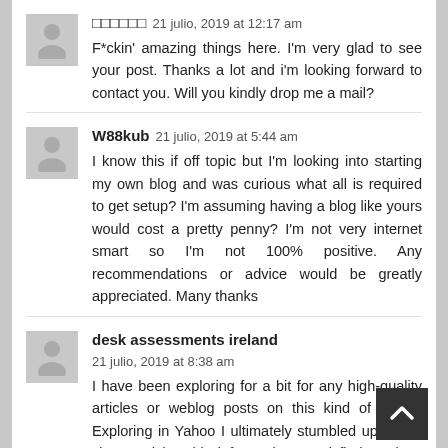□□□□□□  21 julio, 2019 at 12:17 am
F*ckin' amazing things here. I'm very glad to see your post. Thanks a lot and i'm looking forward to contact you. Will you kindly drop me a mail?
W88kub  21 julio, 2019 at 5:44 am
I know this if off topic but I'm looking into starting my own blog and was curious what all is required to get setup? I'm assuming having a blog like yours would cost a pretty penny? I'm not very internet smart so I'm not 100% positive. Any recommendations or advice would be greatly appreciated. Many thanks
desk assessments ireland  21 julio, 2019 at 8:38 am
I have been exploring for a bit for any high-quality articles or weblog posts on this kind of area . Exploring in Yahoo I ultimately stumbled upon this site. Studying this info So i am satisfied to show that I've an incredibly just right uncanny feeling I found out just what I needed. I such a lot indisputably will make sure to do not overlook this web site and provides it a look on a continuing basis.